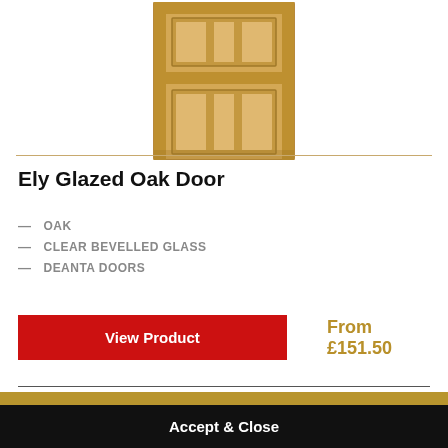[Figure (photo): Partial view of an oak door product image from above, showing wooden door panels in tan/oak finish]
Ely Glazed Oak Door
OAK
CLEAR BEVELLED GLASS
DEANTA DOORS
View Product
From £151.50
This website uses cookies to ensure you get the best experience on our website.
More Information
Accept & Close